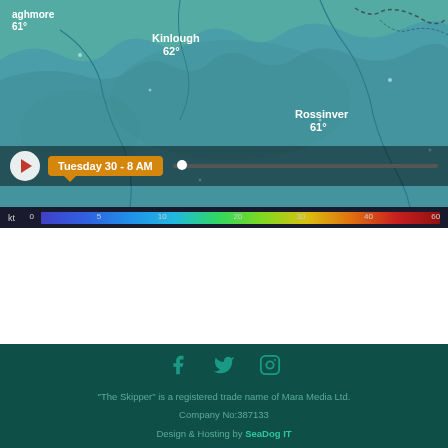[Figure (map): Wind speed map showing coastal Ireland area with locations Kinlough (62°), Rossinver (61°), and partially visible 'aghmore 61°'. Timeline bar at bottom showing Tuesday 30 - 8 AM with play button and progress slider. Wind speed color scale bar at bottom ranging from 0 to 60 knots.]
Privacy   Cookies
"The Skipper" is a registered trade name of Mara Media Ltd.
Company No:387133
Design & Hosting by SeaDog IT